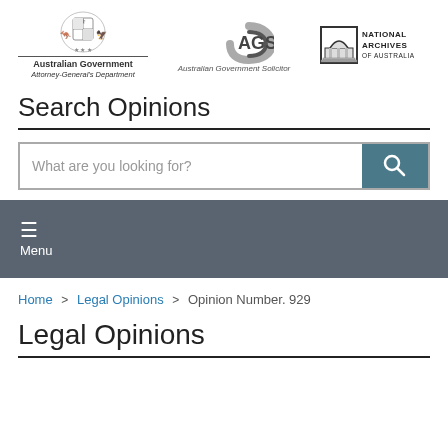[Figure (logo): Australian Government Attorney-General's Department crest logo with text]
[Figure (logo): AGS Australian Government Solicitor logo]
[Figure (logo): National Archives of Australia logo with building icon]
Search Opinions
[Figure (screenshot): Search bar with placeholder text 'What are you looking for?' and teal search button]
Menu
Home > Legal Opinions > Opinion Number. 929
Legal Opinions